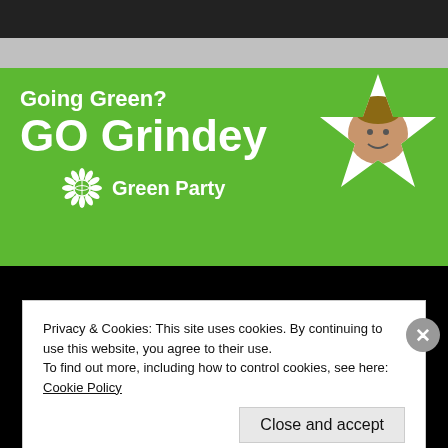[Figure (screenshot): Green Party political banner for 'GO Grindey' candidate campaign. Green background with white text 'Going Green? GO Grindey', Green Party sunflower logo, and a star-shaped portrait photo of the candidate.]
Privacy & Cookies: This site uses cookies. By continuing to use this website, you agree to their use.
To find out more, including how to control cookies, see here: Cookie Policy
Close and accept